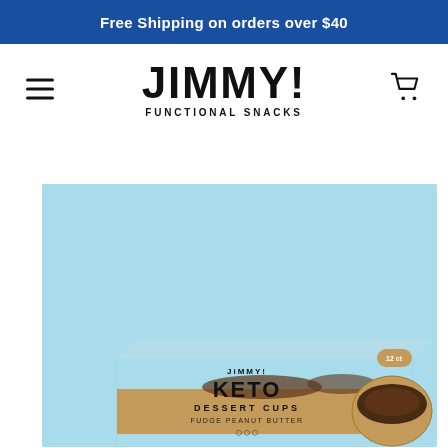Free Shipping on orders over $40
[Figure (logo): JiMMY! Functional Snacks logo with hamburger menu and cart icon]
[Figure (photo): JiMMY! Keto Dessert Cups product box on light blue background — Fudge Peanut Butter flavor, multipack]